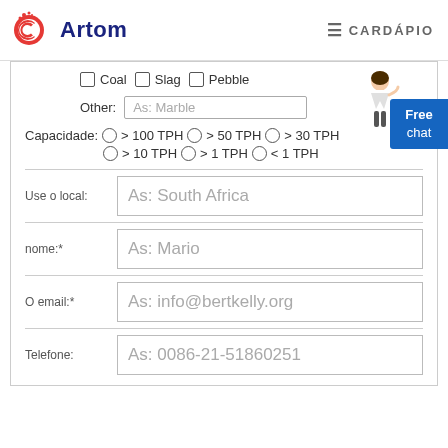[Figure (logo): Artom logo with red circular C icon and dark blue 'Artom' text]
≡ CARDÁPIO
☐ Coal ☐ Slag ☐ Pebble
Other: As: Marble
Capacidade: ○ > 100 TPH ○ > 50 TPH ○ > 30 TPH
○ > 10 TPH ○ > 1 TPH ○ < 1 TPH
Use o local: As: South Africa
nome:* As: Mario
O email:* As: info@bertkelly.org
Telefone: As: 0086-21-51860251